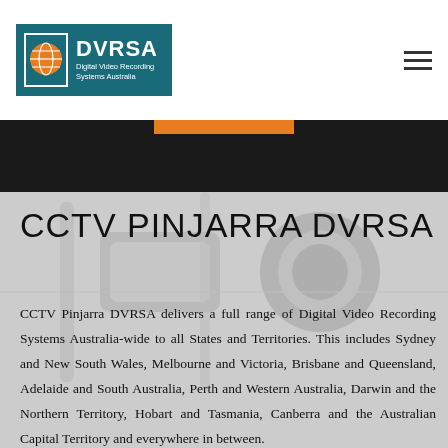DVRSA Digital Video Recording Systems Australia
CCTV PINJARRA DVRSA
CCTV Pinjarra DVRSA delivers a full range of Digital Video Recording Systems Australia-wide to all States and Territories. This includes Sydney and New South Wales, Melbourne and Victoria, Brisbane and Queensland, Adelaide and South Australia, Perth and Western Australia, Darwin and the Northern Territory, Hobart and Tasmania, Canberra and the Australian Capital Territory and everywhere in between.